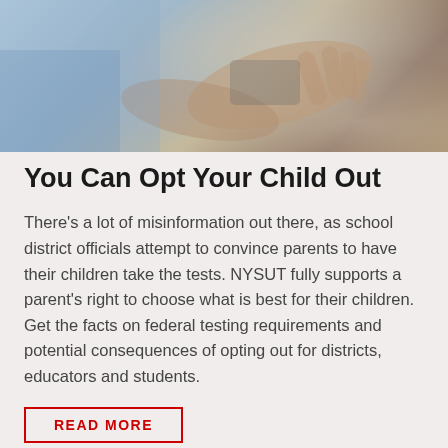[Figure (photo): Photo of hands holding a phone or tablet, person wearing a blue/denim shirt visible in background, slightly blurred]
You Can Opt Your Child Out
There’s a lot of misinformation out there, as school district officials attempt to convince parents to have their children take the tests. NYSUT fully supports a parent’s right to choose what is best for their children. Get the facts on federal testing requirements and potential consequences of opting out for districts, educators and students.
READ MORE